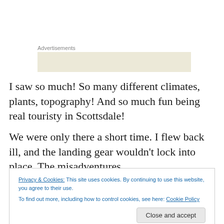Advertisements
[Figure (other): Advertisement placeholder box with beige/tan background]
I saw so much! So many different climates, plants, topography! And so much fun being real touristy in Scottsdale!
We were only there a short time. I flew back ill, and the landing gear wouldn't lock into place. The misadventures
Privacy & Cookies: This site uses cookies. By continuing to use this website, you agree to their use.
To find out more, including how to control cookies, see here: Cookie Policy
Close and accept
trip. It was so quiet in her retirement community that she